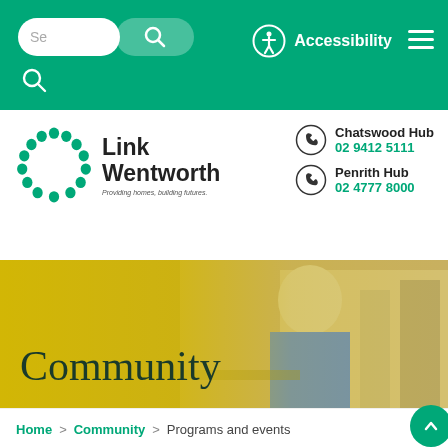[Figure (screenshot): Navigation bar with search pill inputs, accessibility icon, and hamburger menu on teal/green background]
[Figure (logo): Link Wentworth logo with circular dot pattern and text 'Link Wentworth - Providing homes, building futures.']
Chatswood Hub
02 9412 5111
Penrith Hub
02 4777 8000
[Figure (photo): Hero banner with yellow overlay showing elderly man smiling with a drink, sitting at a cafe]
Community
Home > Community > Programs and events